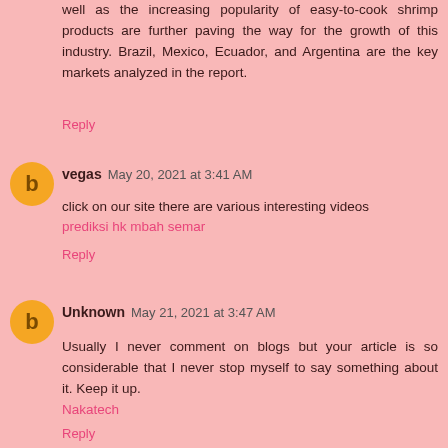well as the increasing popularity of easy-to-cook shrimp products are further paving the way for the growth of this industry. Brazil, Mexico, Ecuador, and Argentina are the key markets analyzed in the report.
Reply
vegas May 20, 2021 at 3:41 AM
click on our site there are various interesting videos
prediksi hk mbah semar
Reply
Unknown May 21, 2021 at 3:47 AM
Usually I never comment on blogs but your article is so considerable that I never stop myself to say something about it. Keep it up.
Nakatech
Reply